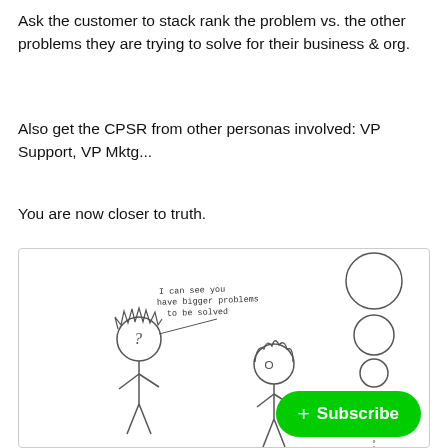Ask the customer to stack rank the problem vs. the other problems they are trying to solve for their business & org.
Also get the CPSR from other personas involved: VP Support, VP Mktg...
You are now closer to truth.
[Figure (illustration): Hand-drawn cartoon showing two stick figures. The left figure has spiky hair and a question mark on its body, with a speech bubble saying 'I can see you have bigger problems to be solved'. The right figure has curly hair. On the right side, there are stacked circles of decreasing size (like a priority stack), and a green Subscribe button overlay in the bottom right.]